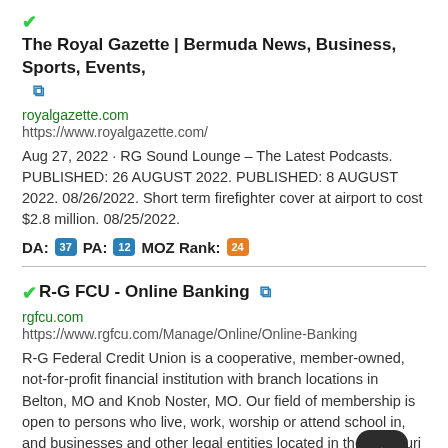✔The Royal Gazette | Bermuda News, Business, Sports, Events, 🔗
royalgazette.com
https://www.royalgazette.com/
Aug 27, 2022 · RG Sound Lounge – The Latest Podcasts. PUBLISHED: 26 AUGUST 2022. PUBLISHED: 8 AUGUST 2022. 08/26/2022. Short term firefighter cover at airport to cost $2.8 million. 08/25/2022.
DA: 37 PA: 12 MOZ Rank: 24
✔R-G FCU - Online Banking 🔗
rgfcu.com
https://www.rgfcu.com/Manage/Online/Online-Banking
R-G Federal Credit Union is a cooperative, member-owned, not-for-profit financial institution with branch locations in Belton, MO and Knob Noster, MO. Our field of membership is open to persons who live, work, worship or attend school in, and businesses and other legal entities located in the Missouri counties of Bates, Benton, Cass, Cedar, Henry, Hickory, Jackson, Johnson, Morgan, …